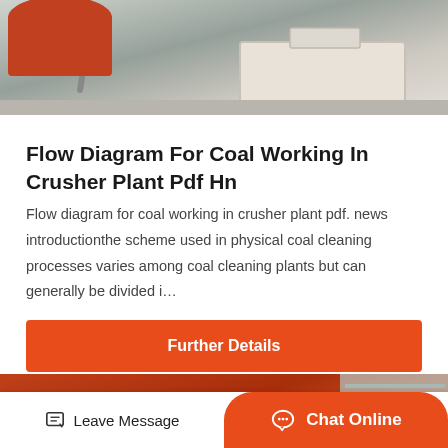[Figure (photo): Top portion of industrial machinery, beige/cream colored equipment on concrete floor]
Flow Diagram For Coal Working In Crusher Plant Pdf Hn
Flow diagram for coal working in crusher plant pdf. news introductionthe scheme used in physical coal cleaning processes varies among coal cleaning plants but can generally be divided i…
Further Details
[Figure (photo): Red/orange industrial crusher plant machinery with angular metal structures, building wall in background]
Leave Message   Chat Online